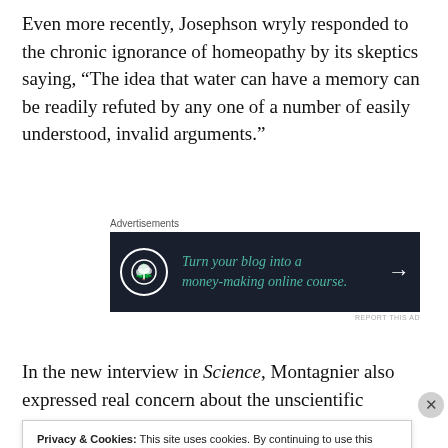Even more recently, Josephson wryly responded to the chronic ignorance of homeopathy by its skeptics saying, “The idea that water can have a memory can be readily refuted by any one of a number of easily understood, invalid arguments.”
[Figure (infographic): Advertisement banner with dark navy background showing a bonsai tree icon in a circle and text: 'Turn your blog into a money-making online course.' with an arrow]
In the new interview in Science, Montagnier also expressed real concern about the unscientific atmosphere
Privacy & Cookies: This site uses cookies. By continuing to use this website, you agree to their use.
To find out more, including how to control cookies, see here: Cookie Policy
Close and accept